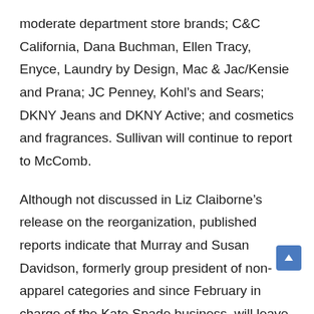moderate department store brands; C&C California, Dana Buchman, Ellen Tracy, Enyce, Laundry by Design, Mac & Jac/Kensie and Prana; JC Penney, Kohl's and Sears; DKNY Jeans and DKNY Active; and cosmetics and fragrances. Sullivan will continue to report to McComb.
Although not discussed in Liz Claiborne's release on the reorganization, published reports indicate that Murray and Susan Davidson, formerly group president of non-apparel categories and since February in charge of the Kate Spade business, will leave the company.
Referring to the reorganization, McComb said in a statement, “This is a crucial step in remaking Liz Claiborne Inc into a more brand-focused and cost-